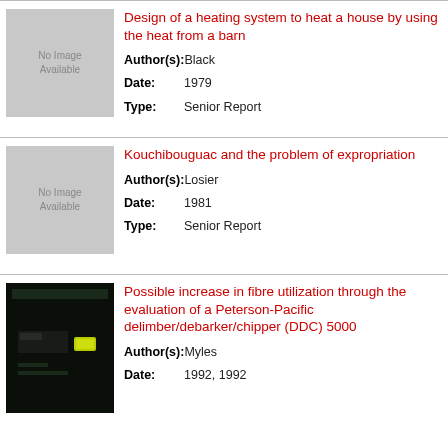Design of a heating system to heat a house by using the heat from a barn
Author(s): Black
Date: 1979
Type: Senior Report
Kouchibouguac and the problem of expropriation
Author(s): Losier
Date: 1981
Type: Senior Report
[Figure (photo): Dark book cover thumbnail]
Possible increase in fibre utilization through the evaluation of a Peterson-Pacific delimber/debarker/chipper (DDC) 5000
Author(s): Myles
Date: 1992, 1992